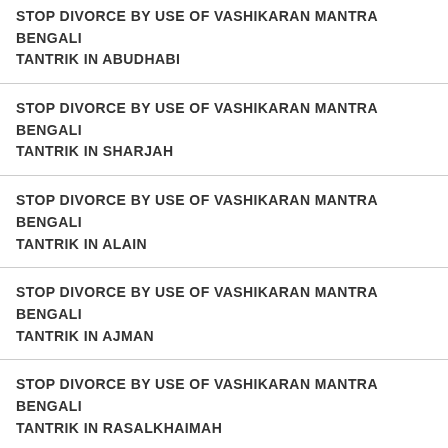STOP DIVORCE BY USE OF VASHIKARAN MANTRA BENGALI TANTRIK IN ABUDHABI
STOP DIVORCE BY USE OF VASHIKARAN MANTRA BENGALI TANTRIK IN SHARJAH
STOP DIVORCE BY USE OF VASHIKARAN MANTRA BENGALI TANTRIK IN ALAIN
STOP DIVORCE BY USE OF VASHIKARAN MANTRA BENGALI TANTRIK IN AJMAN
STOP DIVORCE BY USE OF VASHIKARAN MANTRA BENGALI TANTRIK IN RASALKHAIMAH
Call/ Chat/ Message Bengali Tantrik Acharya Ji